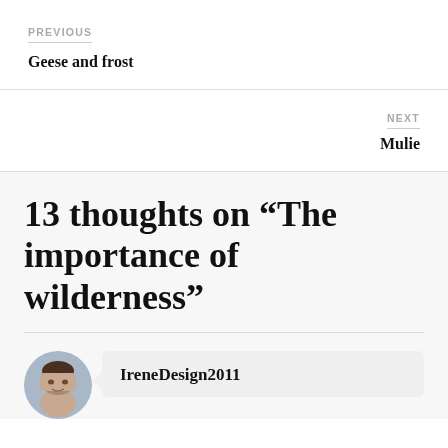PREVIOUS
Geese and frost
NEXT
Mulie
13 thoughts on “The importance of wilderness”
IreneDesign2011